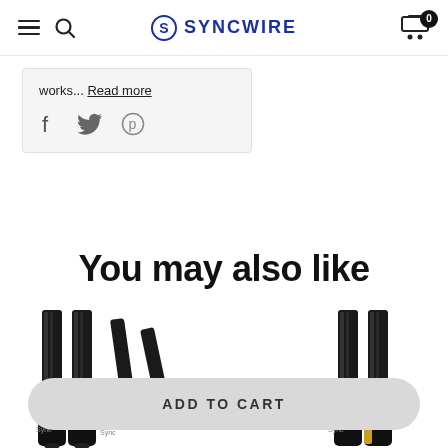SYNCWIRE
works... Read more
[Figure (other): Social sharing icons: Facebook, Twitter, Pinterest]
You may also like
[Figure (photo): Product images of cables, partially visible at bottom of page]
ADD TO CART